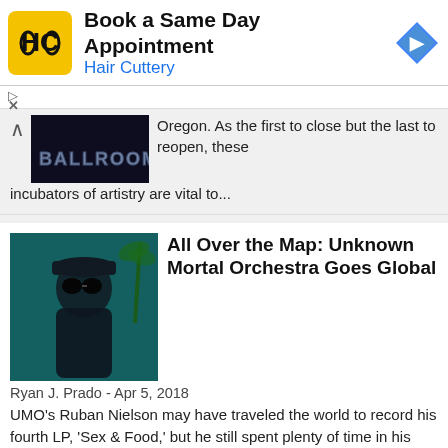[Figure (screenshot): Hair Cuttery advertisement banner with logo, 'Book a Same Day Appointment' headline, and blue navigation arrow icon]
[Figure (photo): Partial image of a dark ballroom/venue sign reading 'BALLROOM']
Oregon. As the first to close but the last to reopen, these incubators of artistry are vital to...
[Figure (photo): Photo of Unknown Mortal Orchestra musician Ruban Nielson in sunglasses with tropical background]
All Over the Map: Unknown Mortal Orchestra Goes Global
Ryan J. Prado - Apr 5, 2018
UMO's Ruban Nielson may have traveled the world to record his fourth LP, 'Sex & Food,' but he still spent plenty of time in his Portland basement. Enjoy the fuzzy psych-pop record when it drops on...
[Figure (photo): Concert photo of Dua Lipa performing with colorful rainbow lighting at the Roseland]
New Voice, New Rules: Dua Lipa at the Roseland
Bren Swogger - Feb 19, 2018